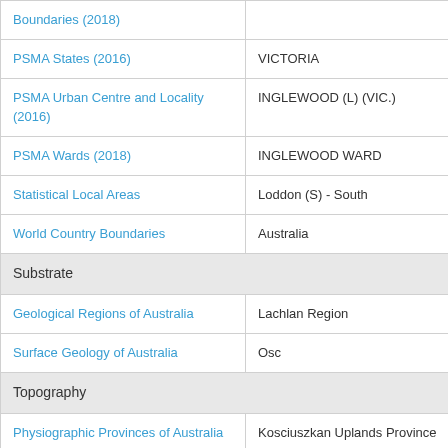| Category | Value |
| --- | --- |
| Boundaries (2018) |  |
| PSMA States (2016) | VICTORIA |
| PSMA Urban Centre and Locality (2016) | INGLEWOOD (L) (VIC.) |
| PSMA Wards (2018) | INGLEWOOD WARD |
| Statistical Local Areas | Loddon (S) - South |
| World Country Boundaries | Australia |
| Substrate |  |
| Geological Regions of Australia | Lachlan Region |
| Surface Geology of Australia | Osc |
| Topography |  |
| Physiographic Provinces of Australia | Kosciuszkan Uplands Province |
| Physiographic Regions 2011 | West Victorian Uplands |
| Vegetation |  |
| Australian Indigenous Areas... | Subsection label bottom... |